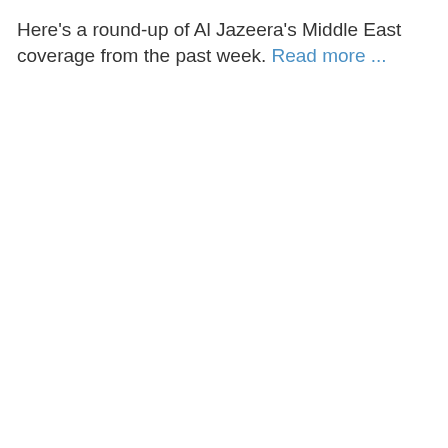Here's a round-up of Al Jazeera's Middle East coverage from the past week. Read more ...